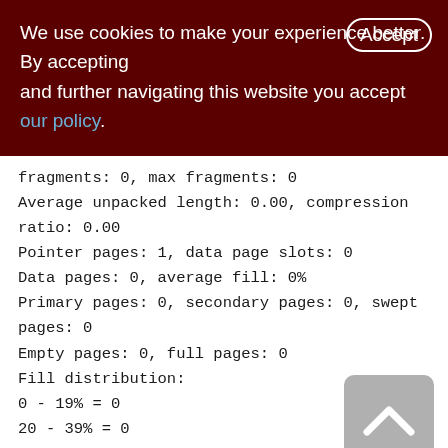We use cookies to make your experience better. By accepting and further navigating this website you accept our policy.
fragments: 0, max fragments: 0
Average unpacked length: 0.00, compression ratio: 0.00
Pointer pages: 1, data page slots: 0
Data pages: 0, average fill: 0%
Primary pages: 0, secondary pages: 0, swept pages: 0
Empty pages: 0, full pages: 0
Fill distribution:
0 - 19% = 0
20 - 39% = 0
40 - 59% = 0
[Figure (illustration): Back to top button - grey rounded square with upward chevron arrow icon]